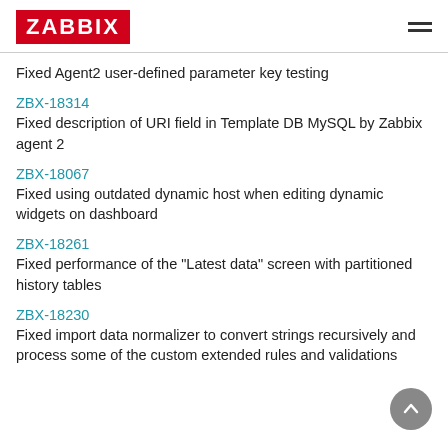ZABBIX
Fixed Agent2 user-defined parameter key testing
ZBX-18314
Fixed description of URI field in Template DB MySQL by Zabbix agent 2
ZBX-18067
Fixed using outdated dynamic host when editing dynamic widgets on dashboard
ZBX-18261
Fixed performance of the "Latest data" screen with partitioned history tables
ZBX-18230
Fixed import data normalizer to convert strings recursively and process some of the custom extended rules and validations